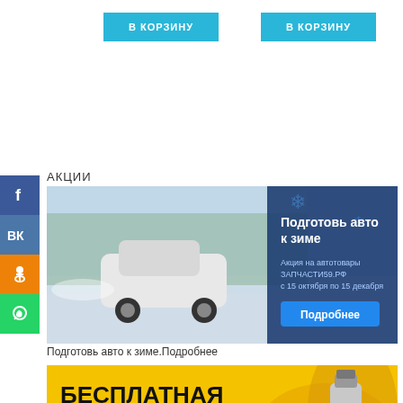[Figure (other): В КОРЗИНУ button (cyan/blue) top left area]
[Figure (other): В КОРЗИНУ button (cyan/blue) top right area]
АКЦИИ
[Figure (other): Social media icons bar: Facebook (blue), VKontakte (blue), Odnoklassniki (orange), WhatsApp (green)]
[Figure (photo): Banner: car driving on snowy winter road, text overlay 'Подготовь авто к зиме', 'Акция на автотовары ЗАПЧАСТИ59.РФ с 15 октября по 15 декабря', blue 'Подробнее' button]
Подготовь авто к зиме.Подробнее
[Figure (photo): Banner: yellow background with oil splash and filter, bold text 'БЕСПЛАТНАЯ ЗАМЕНА МАСЛА! ПРИ ПОКУПКЕ МАСЛА И МАСЛЯНОГО ФИЛЬТРА']